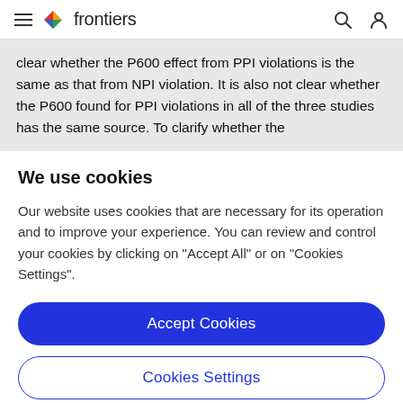frontiers
clear whether the P600 effect from PPI violations is the same as that from NPI violation. It is also not clear whether the P600 found for PPI violations in all of the three studies has the same source. To clarify whether the
We use cookies
Our website uses cookies that are necessary for its operation and to improve your experience. You can review and control your cookies by clicking on "Accept All" or on "Cookies Settings".
Accept Cookies
Cookies Settings